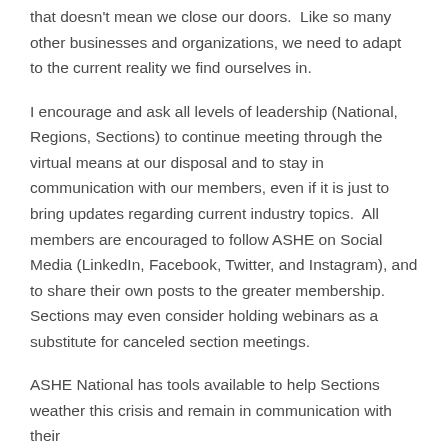that doesn't mean we close our doors.  Like so many other businesses and organizations, we need to adapt to the current reality we find ourselves in.
I encourage and ask all levels of leadership (National, Regions, Sections) to continue meeting through the virtual means at our disposal and to stay in communication with our members, even if it is just to bring updates regarding current industry topics.  All members are encouraged to follow ASHE on Social Media (LinkedIn, Facebook, Twitter, and Instagram), and to share their own posts to the greater membership.  Sections may even consider holding webinars as a substitute for canceled section meetings.
ASHE National has tools available to help Sections weather this crisis and remain in communication with their